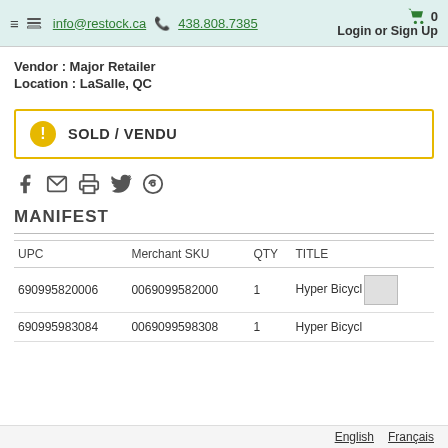≡  info@restock.ca  438.808.7385   🛒 0   Login or Sign Up
Vendor : Major Retailer
Location : LaSalle, QC
SOLD / VENDU
[Figure (other): Social share icons: Facebook, email, print, Twitter, Pinterest]
MANIFEST
| UPC | Merchant SKU | QTY | TITLE |
| --- | --- | --- | --- |
| 690995820006 | 0069099582000 | 1 | Hyper Bicycl[e] |
| 690995983084 | 0069099598308 | 1 | Hyper Bicycl[e] |
English   Français